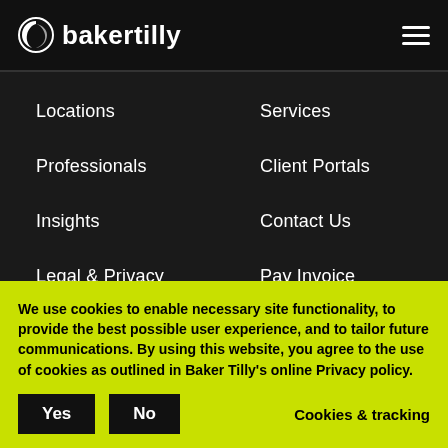bakertilly
Locations
Services
Professionals
Client Portals
Insights
Contact Us
Legal & Privacy
Pay Invoice
We use cookies to enable necessary site functionality, to provide the best possible user experience, and to tailor future communications. By using this website, you agree to the use of cookies as outlined in Baker Tilly's online Privacy policy.
Yes | No | Cookies & tracking